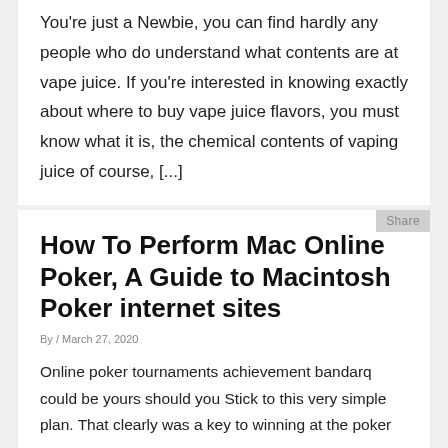You're just a Newbie, you can find hardly any people who do understand what contents are at vape juice. If you're interested in knowing exactly about where to buy vape juice flavors, you must know what it is, the chemical contents of vaping juice of course, [...]
How To Perform Mac Online Poker, A Guide to Macintosh Poker internet sites
By / March 27, 2020
Online poker tournaments achievement bandarq could be yours should you Stick to this very simple plan. That clearly was a key to winning at the poker